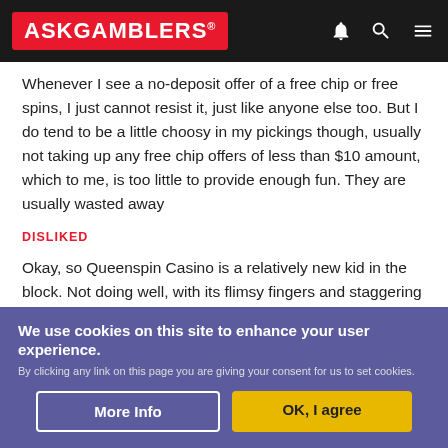ASKGAMBLERS
Whenever I see a no-deposit offer of a free chip or free spins, I just cannot resist it, just like anyone else too. But I do tend to be a little choosy in my pickings though, usually not taking up any free chip offers of less than $10 amount, which to me, is too little to provide enough fun. They are usually wasted away
DISLIKED
Okay, so Queenspin Casino is a relatively new kid in the block. Not doing well, with its flimsy fingers and staggering feet that it has got. But its 'prince' has promised to give all he has got. To make Queenspin Casino a rising star in the block. So...up up and away (prince)...or we'll put you in the lock! Hahaha
We use cookies on this site to enhance your user experience. By clicking any link on this page you are giving your consent for us to set cookies.